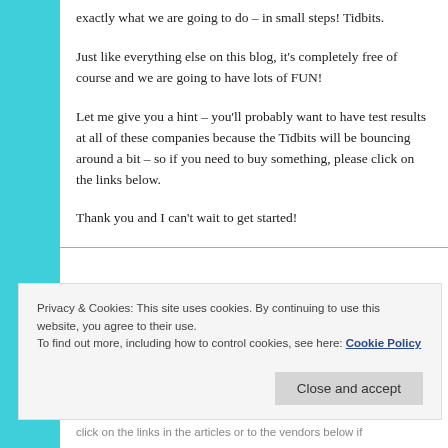exactly what we are going to do – in small steps! Tidbits.
Just like everything else on this blog, it's completely free of course and we are going to have lots of FUN!
Let me give you a hint – you'll probably want to have test results at all of these companies because the Tidbits will be bouncing around a bit – so if you need to buy something, please click on the links below.
Thank you and I can't wait to get started!
Privacy & Cookies: This site uses cookies. By continuing to use this website, you agree to their use.
To find out more, including how to control cookies, see here: Cookie Policy
Close and accept
click on the links in the articles or to the vendors below if